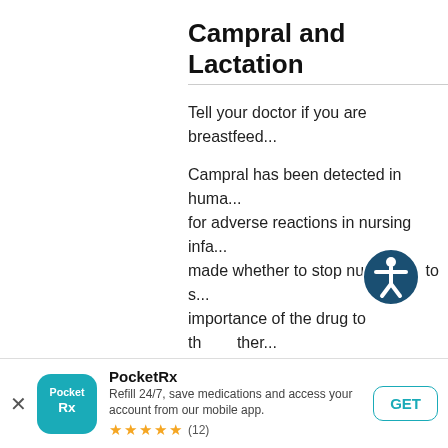Campral and Lactation
Tell your doctor if you are breastfeed...
Campral has been detected in huma... for adverse reactions in nursing infa... made whether to stop nursi... to s... importance of the drug to th... ther...
Campral Usage
Take Campral exactly as prescribed.
[Figure (other): PocketRx app download banner with teal app icon, app name, description 'Refill 24/7, save medications and access your account from our mobile app.', 5-star rating (12 reviews), and GET button]